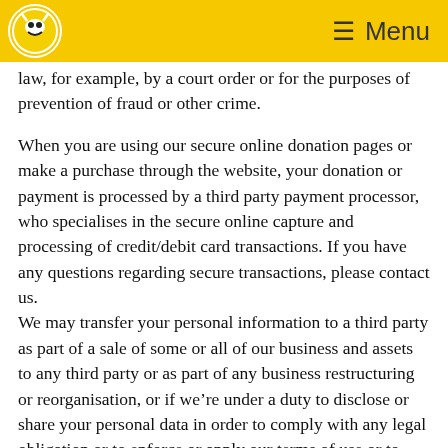Menu
law, for example, by a court order or for the purposes of prevention of fraud or other crime.
When you are using our secure online donation pages or make a purchase through the website, your donation or payment is processed by a third party payment processor, who specialises in the secure online capture and processing of credit/debit card transactions. If you have any questions regarding secure transactions, please contact us.
We may transfer your personal information to a third party as part of a sale of some or all of our business and assets to any third party or as part of any business restructuring or reorganisation, or if we’re under a duty to disclose or share your personal data in order to comply with any legal obligation or to enforce or apply our terms of use or to protect the rights, property or safety of our supporters and customers. However, we will take steps with the aim of ensuring that your privacy rights continue to be